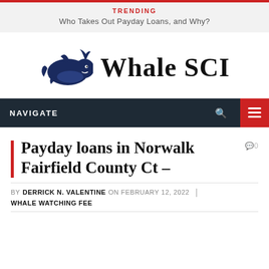TRENDING
Who Takes Out Payday Loans, and Why?
[Figure (logo): Whale SCI logo — a dark navy blue whale illustration facing right with a small water spout, next to the text 'Whale SCI' in a bold serif font]
NAVIGATE
Payday loans in Norwalk Fairfield County Ct –
BY DERRICK N. VALENTINE ON FEBRUARY 12, 2022   WHALE WATCHING FEE